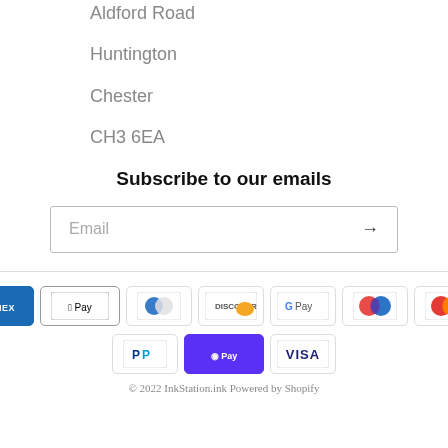Aldford Road
Huntington
Chester
CH3 6EA
Subscribe to our emails
Email
[Figure (other): Payment method icons: American Express, Apple Pay, Diners Club, Discover, Google Pay, Maestro, Mastercard, PayPal, Shop Pay, Visa]
© 2022 InkStation.ink Powered by Shopify